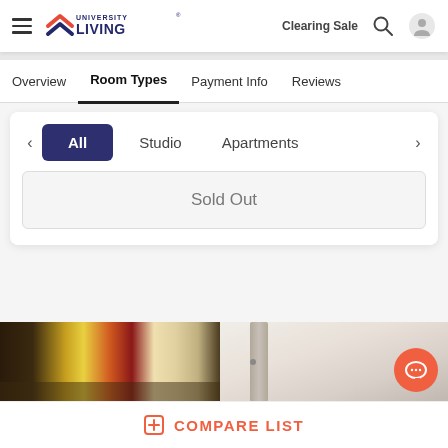[Figure (screenshot): University Living website header with hamburger menu, logo, Clearing Sale link, search icon, and user icon]
Overview
Room Types
Payment Info
Reviews
All
Studio
Apartments
Sold Out
[Figure (photo): Property interior photo showing bookshelf with colourful binders and a hallway]
COMPARE LIST